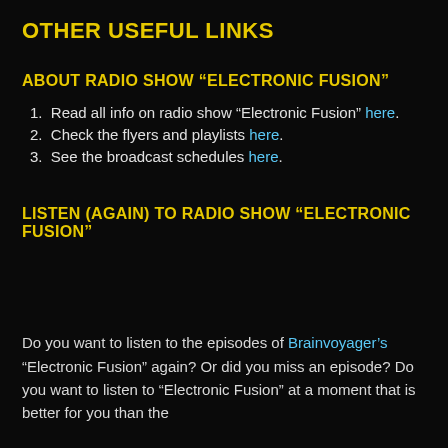OTHER USEFUL LINKS
ABOUT RADIO SHOW “ELECTRONIC FUSION”
Read all info on radio show “Electronic Fusion” here.
Check the flyers and playlists here.
See the broadcast schedules here.
LISTEN (AGAIN) TO RADIO SHOW “ELECTRONIC FUSION”
Do you want to listen to the episodes of Brainvoyager’s “Electronic Fusion” again? Or did you miss an episode? Do you want to listen to “Electronic Fusion” at a moment that is better for you than the